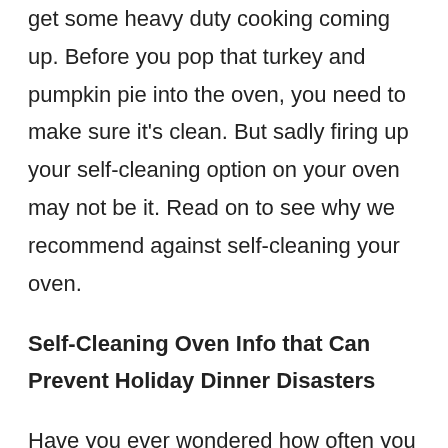get some heavy duty cooking coming up. Before you pop that turkey and pumpkin pie into the oven, you need to make sure it's clean. But sadly firing up your self-cleaning option on your oven may not be it. Read on to see why we recommend against self-cleaning your oven.
Self-Cleaning Oven Info that Can Prevent Holiday Dinner Disasters
Have you ever wondered how often you should use the self-cleaning cycle? The answer to this question varies widely depending on who you ask. Some people say you can use your self-clean setting monthly, while others say you should never turn it on at all. Because of this, you